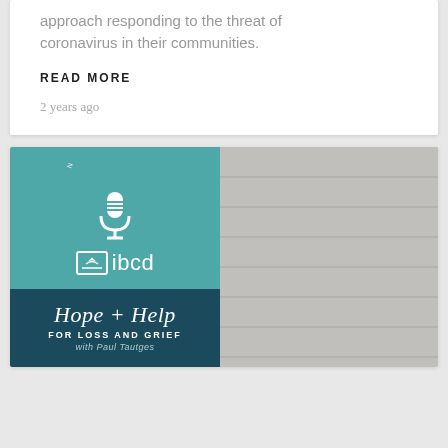approach responding to the threat of coronavirus in their communities.
READ MORE
2 years ago
[Figure (illustration): IBCD podcast promotional image split into two halves. Left half has teal and dark navy background with 'NOW STREAMING' arc text, microphone icon, IBCD logo, and 'Hope + Help FOR LOSS AND GRIEF with Paul Tautges' text. Right half shows a circular portrait photo of a middle-aged man with glasses and short hair wearing a gray shirt, smiling, set against a gray wooden background.]